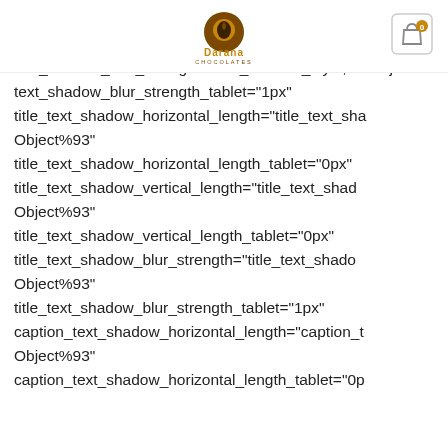Darana Chocolates logo and cart icon
Object%93"
text_shadow_vertical_tablet="0px"
text_shadow_blur_strength="text_shadow_style,%9Object%93"
text_shadow_blur_strength_tablet="1px"
title_text_shadow_horizontal_length="title_text_shadow_horizontal_length Object%93"
title_text_shadow_horizontal_length_tablet="0px"
title_text_shadow_vertical_length="title_text_shadow_vertical_length Object%93"
title_text_shadow_vertical_length_tablet="0px"
title_text_shadow_blur_strength="title_text_shadow_blur_strength Object%93"
title_text_shadow_blur_strength_tablet="1px"
caption_text_shadow_horizontal_length="caption_text_shadow_horizontal_length Object%93"
caption_text_shadow_horizontal_length_tablet="0p